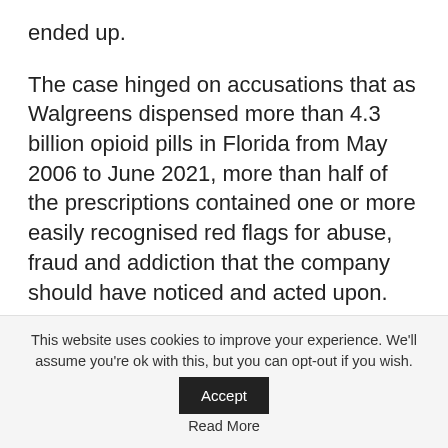ended up.
The case hinged on accusations that as Walgreens dispensed more than 4.3 billion opioid pills in Florida from May 2006 to June 2021, more than half of the prescriptions contained one or more easily recognised red flags for abuse, fraud and addiction that the company should have noticed and acted upon.
Prior to settling, Walgreens had argued it should be immune from being sued based on a $3,000 settlement it reached with Florida in 2012.
This website uses cookies to improve your experience. We'll assume you're ok with this, but you can opt-out if you wish. Read More